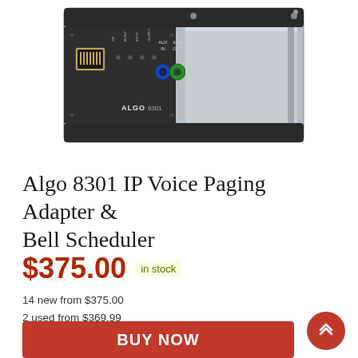[Figure (photo): Photo of the Algo 8301 IP Voice Paging Adapter & Bell Scheduler device, showing a silver/black rectangular hardware unit with Ethernet port, status LEDs, and audio connectors on the front panel. The brand 'ALGO 8301' is visible on the front.]
Algo 8301 IP Voice Paging Adapter & Bell Scheduler
$375.00  in stock
14 new from $375.00
2 used from $369.99
BUY NOW